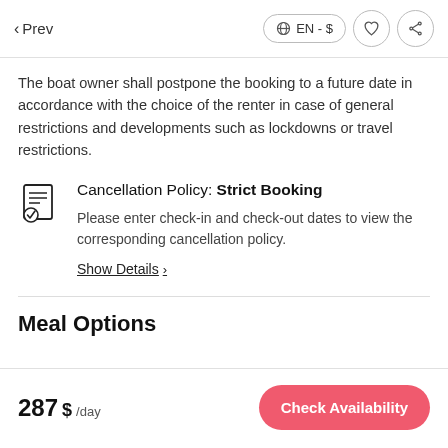< Prev   EN - $
The boat owner shall postpone the booking to a future date in accordance with the choice of the renter in case of general restrictions and developments such as lockdowns or travel restrictions.
Cancellation Policy: Strict Booking
Please enter check-in and check-out dates to view the corresponding cancellation policy.
Show Details >
Meal Options
287 $ /day   Check Availability